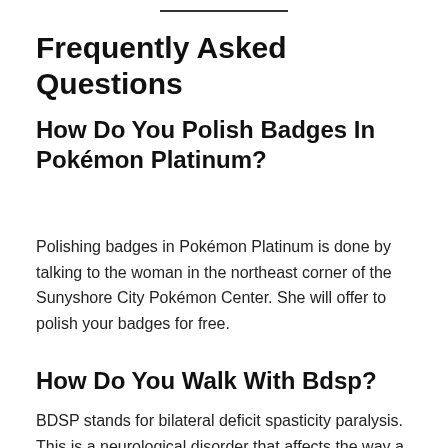Frequently Asked Questions
How Do You Polish Badges In Pokémon Platinum?
Polishing badges in Pokémon Platinum is done by talking to the woman in the northeast corner of the Sunyshore City Pokémon Center. She will offer to polish your badges for free.
How Do You Walk With Bdsp?
BDSP stands for bilateral deficit spasticity paralysis. This is a neurological disorder that affects the way a person walks. People with BDSP